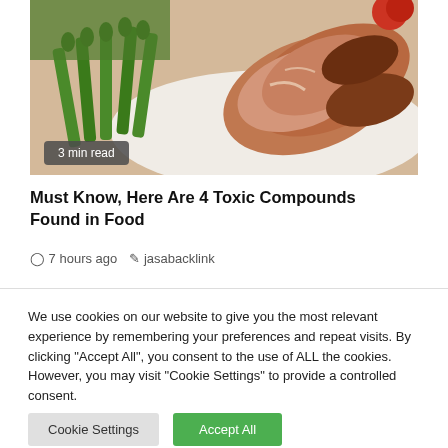[Figure (photo): Food photo showing grilled/seared meat slices with asparagus and green vegetables on a plate]
3 min read
Must Know, Here Are 4 Toxic Compounds Found in Food
7 hours ago   jasabacklink
We use cookies on our website to give you the most relevant experience by remembering your preferences and repeat visits. By clicking "Accept All", you consent to the use of ALL the cookies. However, you may visit "Cookie Settings" to provide a controlled consent.
Cookie Settings   Accept All